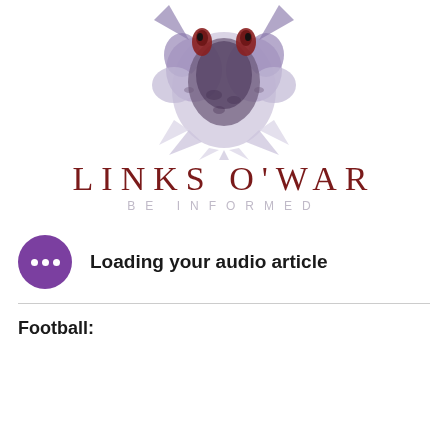[Figure (logo): Links O'War logo: a dark purple symmetrical creature/demon figure with reddish-brown horns or eyes at the top, with spiked edges, butterfly-rorschach style illustration in purple and white tones]
LINKS O'WAR
BE INFORMED
Loading your audio article
Football: